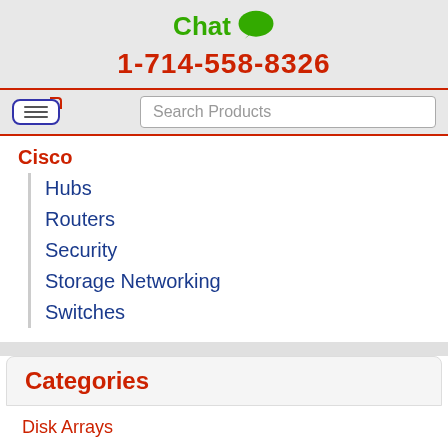[Figure (illustration): Green speech bubble / chat icon next to 'Chat' text]
1-714-558-8326
[Figure (other): Hamburger menu button with red/blue border styling]
Search Products
Cisco
Hubs
Routers
Security
Storage Networking
Switches
Categories
Disk Arrays
Disk Shelves
Disk Storage
Hubs
Network Storage
Routers
Security